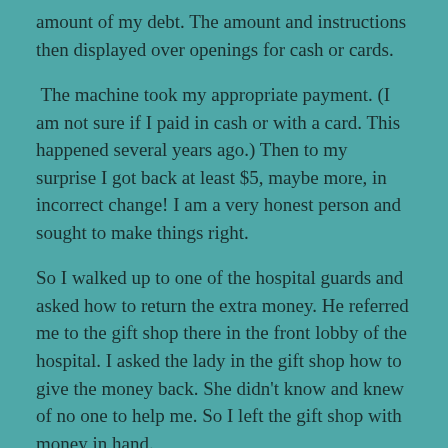amount of my debt. The amount and instructions then displayed over openings for cash or cards.
The machine took my appropriate payment. (I am not sure if I paid in cash or with a card. This happened several years ago.) Then to my surprise I got back at least $5, maybe more, in incorrect change! I am a very honest person and sought to make things right.
So I walked up to one of the hospital guards and asked how to return the extra money. He referred me to the gift shop there in the front lobby of the hospital. I asked the lady in the gift shop how to give the money back. She didn't know and knew of no one to help me. So I left the gift shop with money in hand.